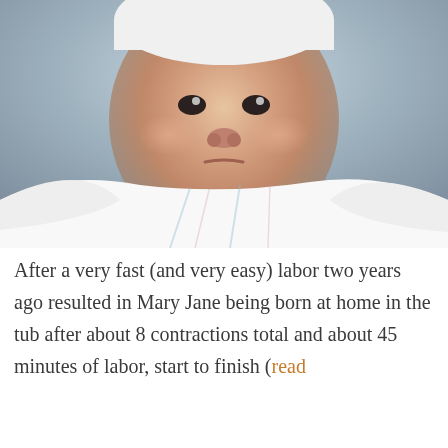[Figure (photo): Close-up photograph of a newborn baby wrapped in a white hospital swaddle blanket with light blue and pink stripes, looking directly at the camera with a slightly frowning expression.]
After a very fast (and very easy) labor two years ago resulted in Mary Jane being born at home in the tub after about 8 contractions total and about 45 minutes of labor, start to finish (read